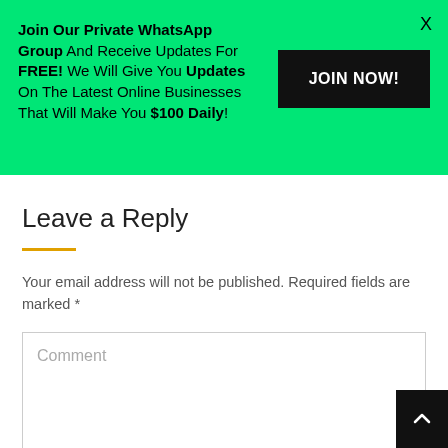Join Our Private WhatsApp Group And Receive Updates For FREE! We Will Give You Updates On The Latest Online Businesses That Will Make You $100 Daily!
JOIN NOW!
Leave a Reply
Your email address will not be published. Required fields are marked *
Comment